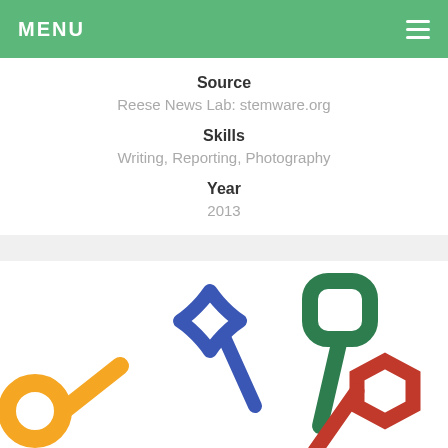MENU
Source
Reese News Lab: stemware.org
Skills
Writing, Reporting, Photography
Year
2013
[Figure (logo): STEMWARE logo showing colorful pen/tool icons in blue, green, yellow, and red]